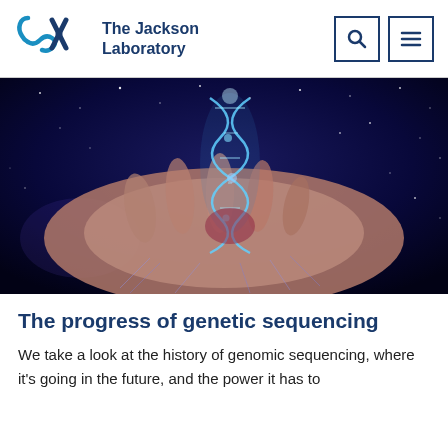The Jackson Laboratory
[Figure (photo): A hand with circuit board patterns holding a glowing blue double helix DNA strand against a dark starry blue background — representing genomic/bioinformatics technology.]
The progress of genetic sequencing
We take a look at the history of genomic sequencing, where it's going in the future, and the power it has to